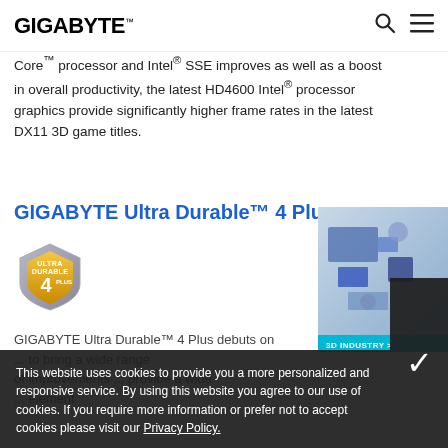GIGABYTE
Core™ processor and Intel® SSE improves as well as a boost in overall productivity, the latest HD4600 Intel® processor graphics provide significantly higher frame rates in the latest DX11 3D game titles.
GIGABYTE Ultra Durable™ 4 Plus
[Figure (logo): GIGABYTE Ultra Durable 4 Plus shield badge logo in gold and silver]
[Figure (illustration): 3D industry motherboard illustration, partial view on right side with '3D INDUSTRY >' label]
GIGABYTE Ultra Durable™ 4 Plus debuts on ... to bring a wide range of improvements ... provide a wide ... element
This website uses cookies to provide you a more personalized and responsive service. By using this website you agree to our use of cookies. If you require more information or prefer not to accept cookies please visit our Privacy Policy.